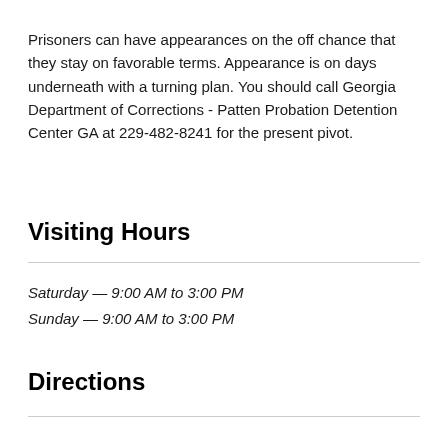Prisoners can have appearances on the off chance that they stay on favorable terms. Appearance is on days underneath with a turning plan. You should call Georgia Department of Corrections - Patten Probation Detention Center GA at 229-482-8241 for the present pivot.
Visiting Hours
Saturday — 9:00 AM to 3:00 PM
Sunday — 9:00 AM to 3:00 PM
Directions